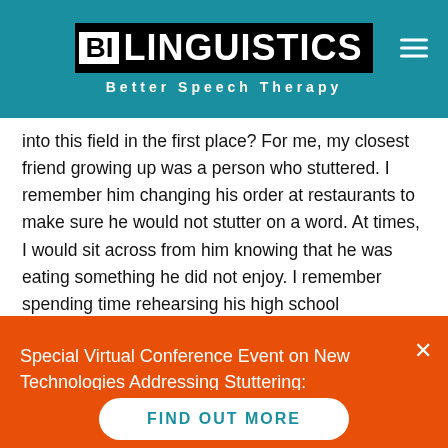BILINGUISTICS | Better Speech Therapy
into this field in the first place?  For me, my closest friend growing up was a person who stuttered.  I remember him changing his order at restaurants to make sure he would not stutter on a word.  At times, I would sit across from him knowing that he was eating something he did not enjoy.   I remember spending time rehearsing his high school presentations late into the evening.  It was the catalyst to my profession, and I grateful for that gift from him.  So, my why is
Special Virtual Conference Event on New Technologies Addressing Stuttering: Wednesday August 24th!
FIND OUT MORE